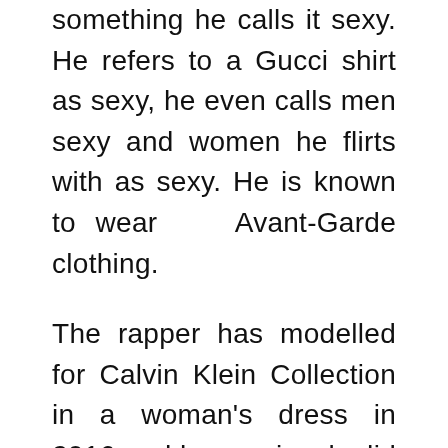something he calls it sexy. He refers to a Gucci shirt as sexy, he even calls men sexy and women he flirts with as sexy. He is known to wear   Avant-Garde clothing.
The rapper has modelled for Calvin Klein Collection in a woman's dress in 2016 and he previously did the same with Gucci. He made the news headlines for wearing dresses and buying his clothes from the kid's section before. His fashion style has